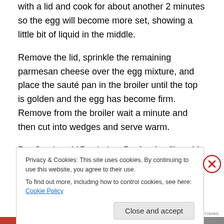with a lid and cook for about another 2 minutes so the egg will become more set, showing a little bit of liquid in the middle.
Remove the lid, sprinkle the remaining parmesan cheese over the egg mixture, and place the sauté pan in the broiler until the top is golden and the egg has become firm. Remove from the broiler wait a minute and then cut into wedges and serve warm.
Per Serving: 115 calories, 5 g fat, 1 g fiber, 11 g protein, 6 g carbs, 0 g sugar
Privacy & Cookies: This site uses cookies. By continuing to use this website, you agree to their use. To find out more, including how to control cookies, see here: Cookie Policy